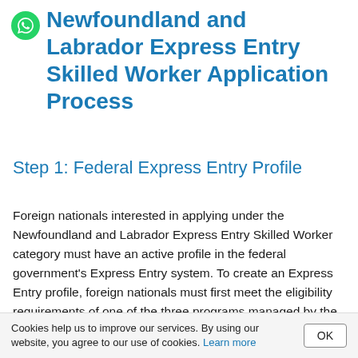Newfoundland and Labrador Express Entry Skilled Worker Application Process
Step 1: Federal Express Entry Profile
Foreign nationals interested in applying under the Newfoundland and Labrador Express Entry Skilled Worker category must have an active profile in the federal government's Express Entry system. To create an Express Entry profile, foreign nationals must first meet the eligibility requirements of one of the three programs managed by the system: the Federal Skilled Worker Class, Federal Skilled Trades Class, and Canadian Experience Class
Cookies help us to improve our services. By using our website, you agree to our use of cookies. Learn more